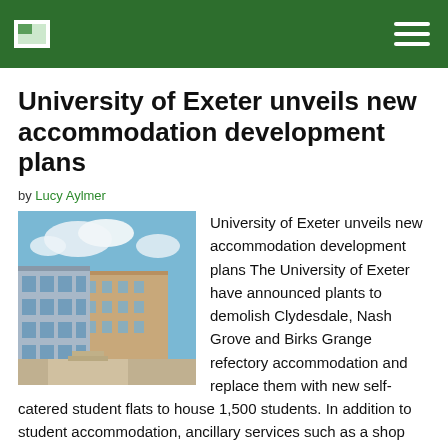University of Exeter [logo] [hamburger menu]
University of Exeter unveils new accommodation development plans
by Lucy Aylmer
[Figure (photo): Photograph of University of Exeter accommodation buildings under a blue sky with clouds]
University of Exeter unveils new accommodation development plans The University of Exeter have announced plants to demolish Clydesdale, Nash Grove and Birks Grange refectory accommodation and replace them with new self-catered student flats to house 1,500 students. In addition to student accommodation, ancillary services such as a shop and café will be built. The data [...]